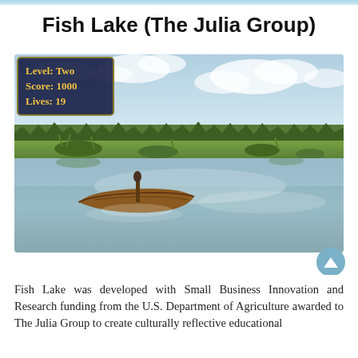Fish Lake (The Julia Group)
[Figure (screenshot): A 3D video game screenshot showing a canoe on a lake with a HUD overlay displaying Level: Two, Score: 1000, Lives: 19. The scene includes a treeline in the background, marshy shoreline, and reflective water. The game appears culturally themed.]
Fish Lake was developed with Small Business Innovation and Research funding from the U.S. Department of Agriculture awarded to The Julia Group to create culturally reflective educational